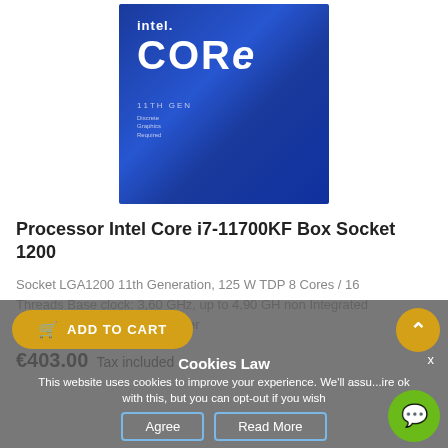[Figure (photo): Intel Core 11th Gen processor box with blue background, showing 'intel.' logo, 'CORe' text, '11TH GEN', and 'Discrete Graphics Required' text]
Processor Intel Core i7-11700KF Box Socket 1200
Socket LGA1200 11th Generation, 125 W TDP 8 Cores / 16 Threads Base clock: 3,60 GHz, up to 4,90 GH non Integrated graphic Package without Cooler
€403.00 Tax included
Cookies Law
This website uses cookies to improve your experience. We'll assu...ire ok with this, but you can opt-out if you wish
Agree    Read More
ADD TO CART
QUICK VIEW